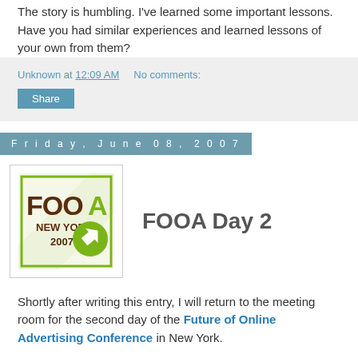The story is humbling. I've learned some important lessons. Have you had similar experiences and learned lessons of your own from them?
Unknown at 12:09 AM   No comments:
Share
Friday, June 08, 2007
[Figure (logo): FOOA New York 2007 conference logo with green arrow icon]
FOOA Day 2
Shortly after writing this entry, I will return to the meeting room for the second day of the Future of Online Advertising Conference in New York.